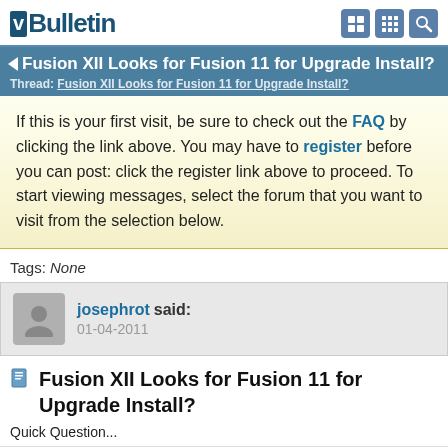vBulletin
Fusion XII Looks for Fusion 11 for Upgrade Install? Thread: Fusion XII Looks for Fusion 11 for Upgrade Install?
If this is your first visit, be sure to check out the FAQ by clicking the link above. You may have to register before you can post: click the register link above to proceed. To start viewing messages, select the forum that you want to visit from the selection below.
Tags: None
josephrot said: 01-04-2011
Fusion XII Looks for Fusion 11 for Upgrade Install?
Quick Question...